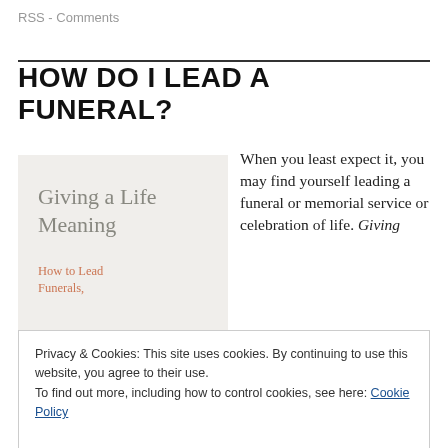RSS - Comments
HOW DO I LEAD A FUNERAL?
[Figure (illustration): Book cover image with light gray background showing title 'Giving a Life Meaning' in gray serif font, and subtitle 'How to Lead Funerals,' in orange-brown text]
When you least expect it, you may find yourself leading a funeral or memorial service or celebration of life. Giving
Privacy & Cookies: This site uses cookies. By continuing to use this website, you agree to their use.
To find out more, including how to control cookies, see here: Cookie Policy
Close and accept
[Figure (photo): Partial photo visible at bottom left, showing flowers (orange/pink tones) and possibly a person]
underlined text and leading a funeral